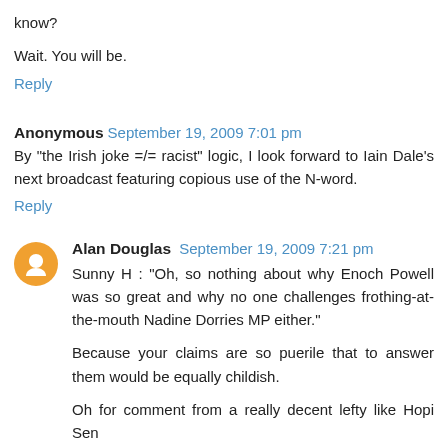know?
Wait. You will be.
Reply
Anonymous  September 19, 2009 7:01 pm
By "the Irish joke =/= racist" logic, I look forward to Iain Dale's next broadcast featuring copious use of the N-word.
Reply
Alan Douglas  September 19, 2009 7:21 pm
Sunny H : "Oh, so nothing about why Enoch Powell was so great and why no one challenges frothing-at-the-mouth Nadine Dorries MP either."
Because your claims are so puerile that to answer them would be equally childish.
Oh for comment from a really decent lefty like Hopi Sen